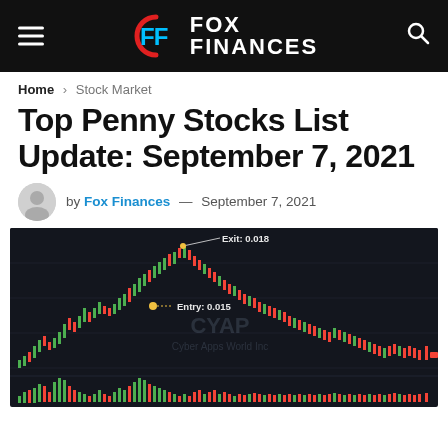FOX FINANCES
Home > Stock Market
Top Penny Stocks List Update: September 7, 2021
by Fox Finances — September 7, 2021
[Figure (continuous-plot): Candlestick stock chart for CYAP (Cyber Apps World Inc) showing entry at 0.015 and exit at 0.018, with volume bars at bottom. Dark background with red and green candles.]